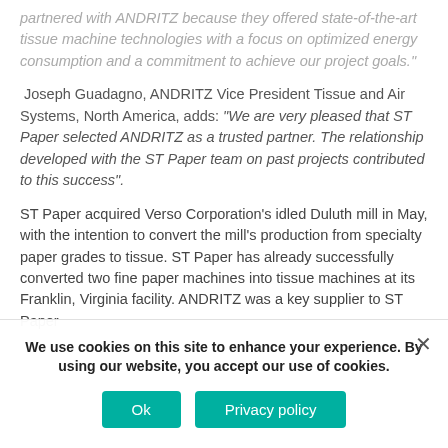partnered with ANDRITZ because they offered state-of-the-art tissue machine technologies with a focus on optimized energy consumption and a commitment to achieve our project goals."
Joseph Guadagno, ANDRITZ Vice President Tissue and Air Systems, North America, adds: “We are very pleased that ST Paper selected ANDRITZ as a trusted partner. The relationship developed with the ST Paper team on past projects contributed to this success”.
ST Paper acquired Verso Corporation’s idled Duluth mill in May, with the intention to convert the mill’s production from specialty paper grades to tissue. ST Paper has already successfully converted two fine paper machines into tissue machines at its Franklin, Virginia facility. ANDRITZ was a key supplier to ST Paper
We use cookies on this site to enhance your experience. By using our website, you accept our use of cookies.